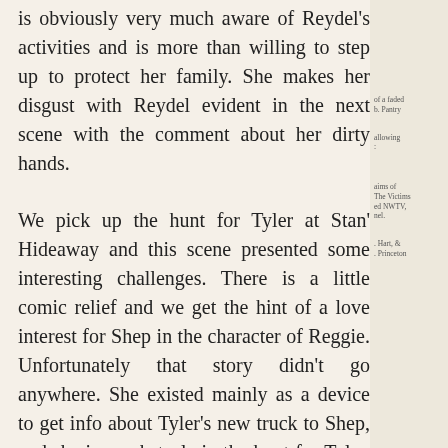is obviously very much aware of Reydel's activities and is more than willing to step up to protect her family. She makes her disgust with Reydel evident in the next scene with the comment about her dirty hands.
We pick up the hunt for Tyler at Stan' Hideaway and this scene presented some interesting challenges. There is a little comic relief and we get the hint of a love interest for Shep in the character of Reggie. Unfortunately that story didn't go anywhere. She existed mainly as a device to get info about Tyler's new truck to Shep, and she is an obstacle in the hunt for Tyler. She doesn't know where he is, go ask Willie. Then we had another